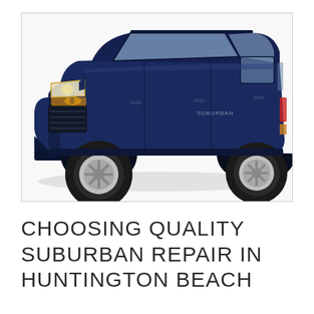[Figure (photo): A dark navy blue Chevrolet Suburban SUV photographed from a three-quarter front angle on a white background, showing the front grille, headlights, side profile, chrome wheels, and roof rack.]
CHOOSING QUALITY SUBURBAN REPAIR IN HUNTINGTON BEACH